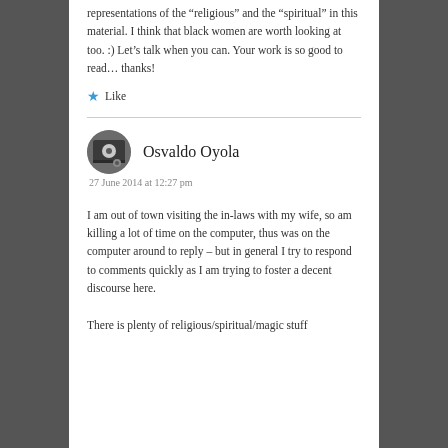representations of the “religious” and the “spiritual” in this material. I think that black women are worth looking at too. :) Let’s talk when you can. Your work is so good to read… thanks!
★ Like
Osvaldo Oyola
27 June 2014 at 12:27 pm
I am out of town visiting the in-laws with my wife, so am killing a lot of time on the computer, thus was on the computer around to reply – but in general I try to respond to comments quickly as I am trying to foster a decent discourse here.
There is plenty of religious/spiritual/magic stuff